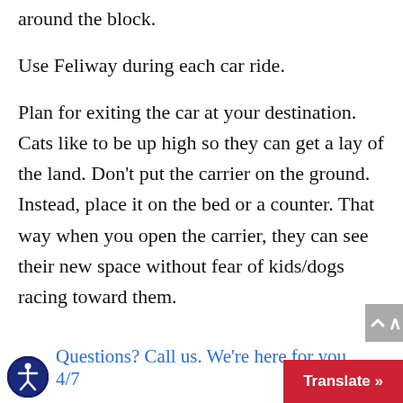around the block.
Use Feliway during each car ride.
Plan for exiting the car at your destination. Cats like to be up high so they can get a lay of the land. Don't put the carrier on the ground. Instead, place it on the bed or a counter. That way when you open the carrier, they can see their new space without fear of kids/dogs racing toward them.
Questions? Call us. We're here for you 24/7